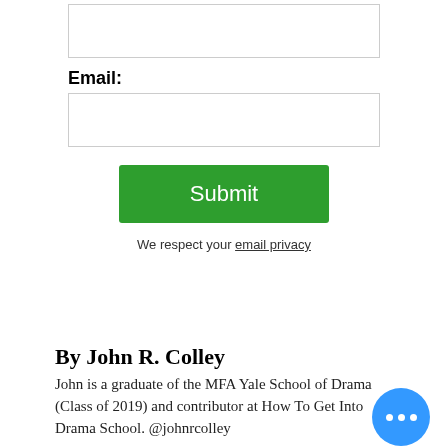[Figure (screenshot): Empty text input box (form field)]
Email:
[Figure (screenshot): Email text input box (form field)]
[Figure (screenshot): Green Submit button]
We respect your email privacy
By John R. Colley
John is a graduate of the MFA Yale School of Drama (Class of 2019) and contributor at How To Get Into Drama School. @johnrcolley
Exercises and Suggestions